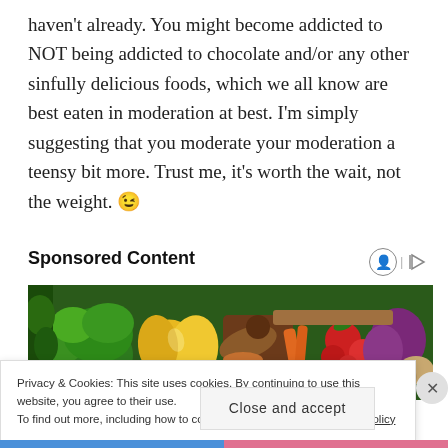haven't already. You might become addicted to NOT being addicted to chocolate and/or any other sinfully delicious foods, which we all know are best eaten in moderation at best. I'm simply suggesting that you moderate your moderation a teensy bit more. Trust me, it's worth the wait, not the weight. 😉
Sponsored Content
[Figure (photo): Colorful assortment of fresh vegetables including broccoli, yellow peppers, carrots, tomatoes, red onions, and potatoes on a wooden surface]
Privacy & Cookies: This site uses cookies. By continuing to use this website, you agree to their use.
To find out more, including how to control cookies, see here: Cookie Policy
Close and accept